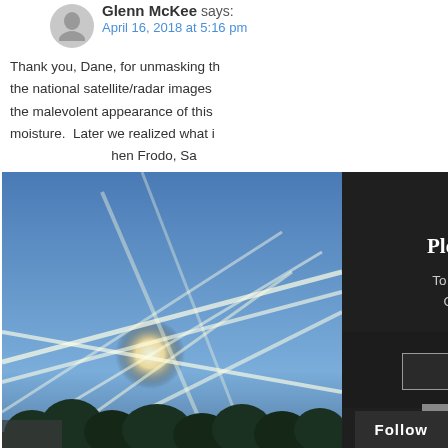Glenn McKee says:
April 16, 2018 at 5:16 pm
Thank you, Dane, for unmasking the national satellite/radar images the malevolent appearance of this moisture.  Later we realized what i... hen Frodo, Sa... ve the fortress... ng beam of en... m signals that... d spreading i... who see this
[Figure (photo): Photo of sky with chemtrail patterns visible, shown inside a subscription popup overlay]
Please Subscribe
To Ensure You Receive Our Breaking News Updates
Enter Your Email
SUBMIT
X  CLOSE
Pedro says:
April 21, 2018 at 4:
Trees Are Dying Everywher
https://www.y...
Follow